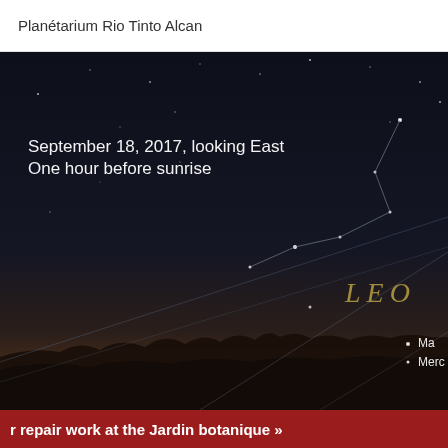Planétarium Rio Tinto Alcan
[Figure (illustration): Night sky planetarium view looking East on September 18, 2017, one hour before sunrise. Shows the Leo constellation with star lines drawn, labeled 'LEO' in yellow italic text. Lower right shows labels for Mars and Mercury near the horizon. The sky transitions from dark navy at top to a warm dark orange-brown near the tree-silhouetted horizon at bottom.]
r repair work at the Jardin botanique »